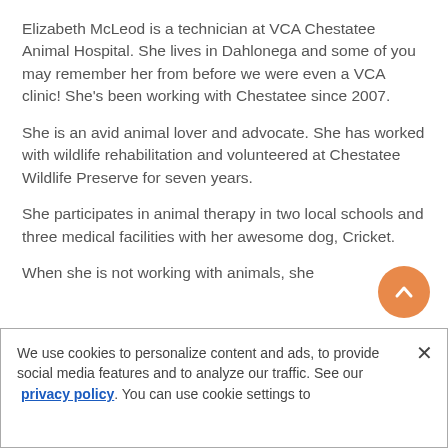Elizabeth McLeod is a technician at VCA Chestatee Animal Hospital. She lives in Dahlonega and some of you may remember her from before we were even a VCA clinic! She's been working with Chestatee since 2007.
She is an avid animal lover and advocate. She has worked with wildlife rehabilitation and volunteered at Chestatee Wildlife Preserve for seven years.
She participates in animal therapy in two local schools and three medical facilities with her awesome dog, Cricket.
When she is not working with animals, she
We use cookies to personalize content and ads, to provide social media features and to analyze our traffic. See our privacy policy. You can use cookie settings to